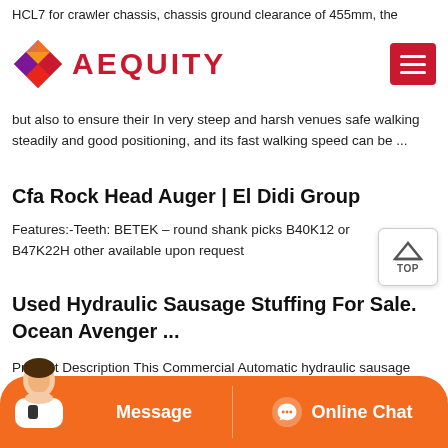HCL7 for crawler chassis, chassis ground clearance of 455mm, the
[Figure (logo): Aequity logo with geometric diamond shape in purple, orange, and red colors, followed by the text AEQUITY in red bold letters. A red hamburger menu button is on the right.]
but also to ensure their In very steep and harsh venues safe walking steadily and good positioning, and its fast walking speed can be ...
Cfa Rock Head Auger | El Didi Group
Features:-Teeth: BETEK – round shank picks B40K12 or B47K22H other available upon request
Used Hydraulic Sausage Stuffing For Sale. Ocean Avenger ...
Product Description This Commercial Automatic hydraulic sausage filler filling Machine is made of food grade stainless steel, and is widely suitable for various sausage products' s, especially for dry s...